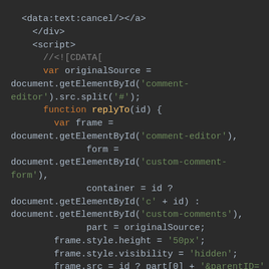[Figure (screenshot): Dark-theme code editor screenshot showing JavaScript/HTML code with syntax highlighting. Code includes HTML tags (</div>, <script>), a CDATA comment, and JavaScript variable declarations and functions: originalSource, replyTo(id), frame, form, container, part assignments, and frame style/src manipulations.]